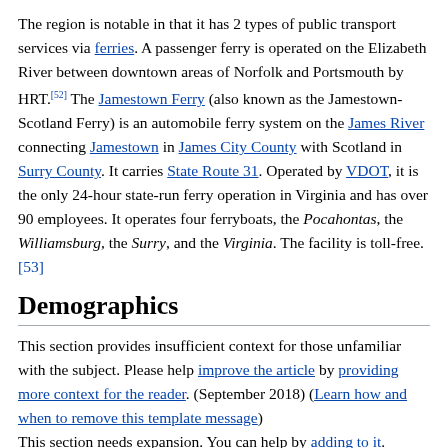The region is notable in that it has 2 types of public transport services via ferries. A passenger ferry is operated on the Elizabeth River between downtown areas of Norfolk and Portsmouth by HRT.[52] The Jamestown Ferry (also known as the Jamestown-Scotland Ferry) is an automobile ferry system on the James River connecting Jamestown in James City County with Scotland in Surry County. It carries State Route 31. Operated by VDOT, it is the only 24-hour state-run ferry operation in Virginia and has over 90 employees. It operates four ferryboats, the Pocahontas, the Williamsburg, the Surry, and the Virginia. The facility is toll-free.[53]
Demographics
This section provides insufficient context for those unfamiliar with the subject. Please help improve the article by providing more context for the reader. (September 2018) (Learn how and when to remove this template message)
This section needs expansion. You can help by adding to it. (September 2018)
According to the 2010 Census, the overall racial composition of Hampton Roads was as follows:[54]